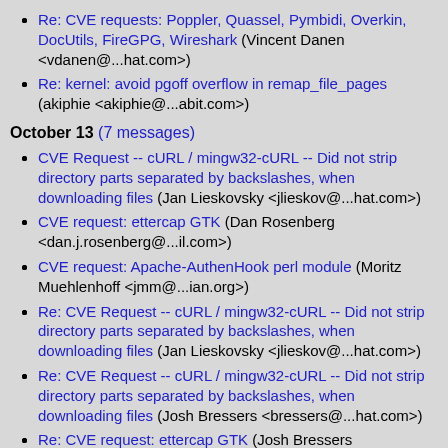Re: CVE requests: Poppler, Quassel, Pymbidi, Overkin, DocUtils, FireGPG, Wireshark (Vincent Danen <vdanen@...hat.com>)
Re: kernel: avoid pgoff overflow in remap_file_pages (akiphie <akiphie@...abit.com>)
October 13 (7 messages)
CVE Request -- cURL / mingw32-cURL -- Did not strip directory parts separated by backslashes, when downloading files (Jan Lieskovsky <jlieskov@...hat.com>)
CVE request: ettercap GTK (Dan Rosenberg <dan.j.rosenberg@...il.com>)
CVE request: Apache-AuthenHook perl module (Moritz Muehlenhoff <jmm@...ian.org>)
Re: CVE Request -- cURL / mingw32-cURL -- Did not strip directory parts separated by backslashes, when downloading files (Jan Lieskovsky <jlieskov@...hat.com>)
Re: CVE Request -- cURL / mingw32-cURL -- Did not strip directory parts separated by backslashes, when downloading files (Josh Bressers <bressers@...hat.com>)
Re: CVE request: ettercap GTK (Josh Bressers <bressers@...hat.com>)
Re: CVE request: Apache-AuthenHook perl module (Josh Bressers <bressers@...hat.com>)